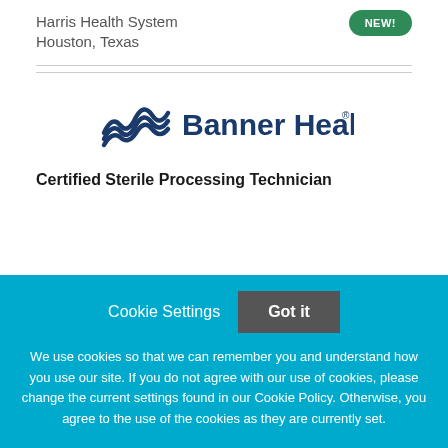Harris Health System
Houston, Texas
[Figure (logo): Banner Health logo with wave icon]
Certified Sterile Processing Technician
Cookie Settings   Got it
We use cookies so that we can remember you and understand how you use our site. If you do not agree with our use of cookies, please change the current settings found in our Cookie Policy. Otherwise, you agree to the use of the cookies as they are currently set.